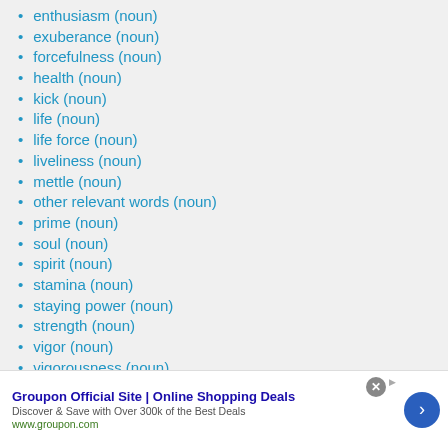enthusiasm (noun)
exuberance (noun)
forcefulness (noun)
health (noun)
kick (noun)
life (noun)
life force (noun)
liveliness (noun)
mettle (noun)
other relevant words (noun)
prime (noun)
soul (noun)
spirit (noun)
stamina (noun)
staying power (noun)
strength (noun)
vigor (noun)
vigorousness (noun)
vital force (noun)
éclat (noun)
élan vital (noun)
Groupon Official Site | Online Shopping Deals — Discover & Save with Over 300k of the Best Deals — www.groupon.com